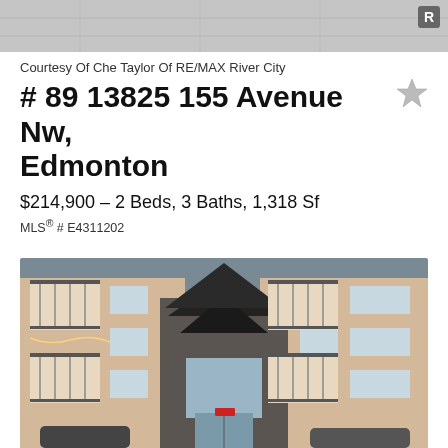[Figure (photo): Top portion of exterior photo of apartment building, cropped]
Courtesy Of Che Taylor Of RE/MAX River City
# 89 13825 155 Avenue Nw, Edmonton
$214,900 – 2 Beds, 3 Baths, 1,318 Sf
MLS® # E4311202
[Figure (photo): Exterior photo of multi-storey apartment complex with dark peaked roof feature, stone facade, balconies, and parked cars in front]